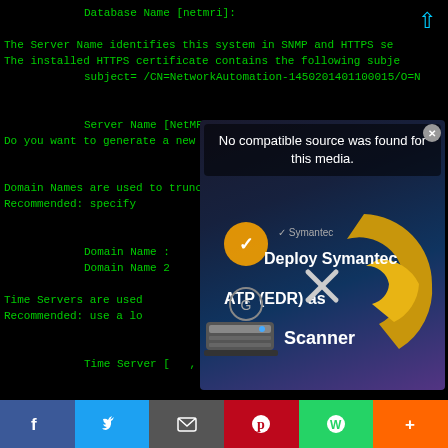[Figure (screenshot): Terminal/CLI screenshot showing green text on black background with NetMRI server configuration prompts including Database Name, Server Name, HTTPS Certificate, Domain Names, Time Servers, and Time Zone Regions. An ad overlay popup for Symantec Deploy ATP (EDR) as Scanner appears on top of the terminal with a 'No compatible source was found for this media' message. The popup shows a gold circular logo, a server hardware image, and text about Symantec/ATP/Scanner.]
[Figure (screenshot): Social media sharing bar at the bottom with icons for Facebook, Twitter, Email, Pinterest, WhatsApp, and More (+).]